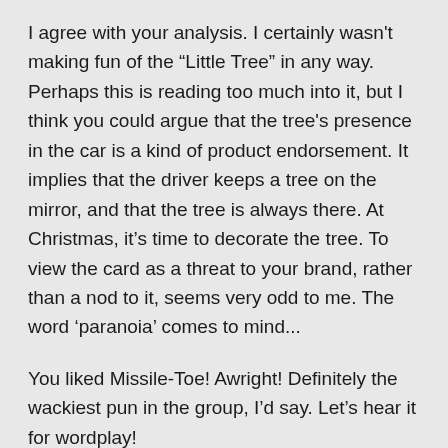I agree with your analysis. I certainly wasn't making fun of the “Little Tree” in any way. Perhaps this is reading too much into it, but I think you could argue that the tree's presence in the car is a kind of product endorsement. It implies that the driver keeps a tree on the mirror, and that the tree is always there. At Christmas, it’s time to decorate the tree. To view the card as a threat to your brand, rather than a nod to it, seems very odd to me. The word ‘paranoia’ comes to mind...
You liked Missile-Toe! Awright! Definitely the wackiest pun in the group, I’d say. Let’s hear it for wordplay!